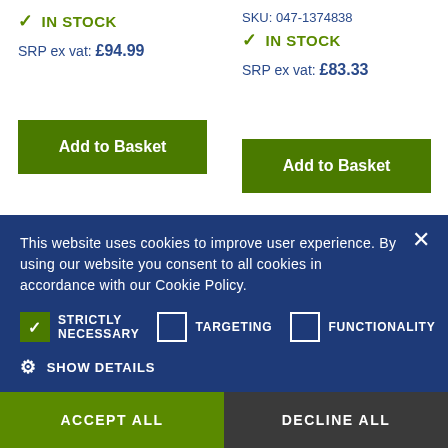✓ IN STOCK
SRP ex vat: £94.99
Add to Basket
SKU: 047-1374838
✓ IN STOCK
SRP ex vat: £83.33
Add to Basket
[Figure (photo): Teal/green puffer jacket product image]
This website uses cookies to improve user experience. By using our website you consent to all cookies in accordance with our Cookie Policy.
STRICTLY NECESSARY (checked), TARGETING (unchecked), FUNCTIONALITY (unchecked)
SHOW DETAILS
ACCEPT ALL
DECLINE ALL